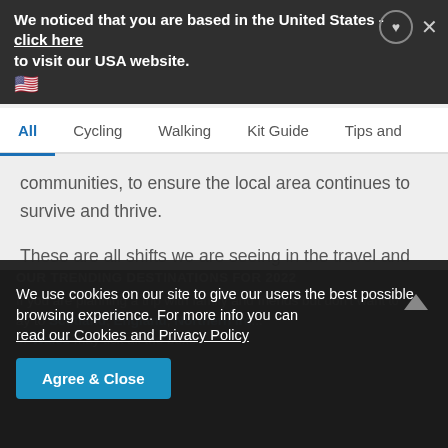We noticed that you are based in the United States - click here to visit our USA website.
All  Cycling  Walking  Kit Guide  Tips and
communities, to ensure the local area continues to survive and thrive.
These are all shifts we are seeing in the travel and tourism industry, so if you're ready to gain further inspiration, check out our top trending destinations for 2022 below!
OUR TRENDING DESTINATIONS FOR 2022
If you are planning a trip with family and friends but don't want to ... ay to Scotland, England, Northern Ire... or Wales may tick all the boxes.
We use cookies on our site to give our users the best possible browsing experience. For more info you can read our Cookies and Privacy Policy
Agree & Close